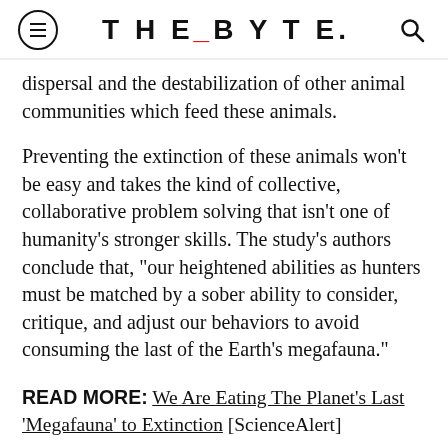THE_BYTE.
dispersal and the destabilization of other animal communities which feed these animals.
Preventing the extinction of these animals won't be easy and takes the kind of collective, collaborative problem solving that isn't one of humanity's stronger skills. The study's authors conclude that, "our heightened abilities as hunters must be matched by a sober ability to consider, critique, and adjust our behaviors to avoid consuming the last of the Earth's megafauna."
READ MORE: We Are Eating The Planet's Last 'Megafauna' to Extinction [ScienceAlert]